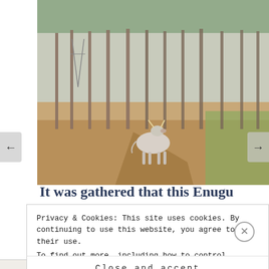[Figure (photo): A white cow standing in a dry field with tall palm and eucalyptus trees in the background under a hazy sky.]
It was gathered that this Enugu
Privacy & Cookies: This site uses cookies. By continuing to use this website, you agree to their use.
To find out more, including how to control cookies, see here: Our Cookie Policy.
Close and accept